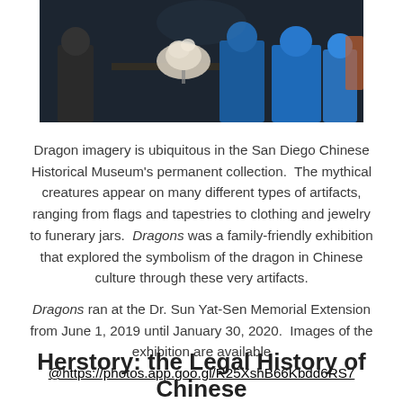[Figure (photo): Museum visitors standing near a display with a white sculptural artifact on a dark table, set in a dimly lit museum gallery.]
Dragon imagery is ubiquitous in the San Diego Chinese Historical Museum's permanent collection.  The mythical creatures appear on many different types of artifacts, ranging from flags and tapestries to clothing and jewelry to funerary jars.  Dragons was a family-friendly exhibition that explored the symbolism of the dragon in Chinese culture through these very artifacts.
Dragons ran at the Dr. Sun Yat-Sen Memorial Extension from June 1, 2019 until January 30, 2020.  Images of the exhibition are available @https://photos.app.goo.gl/R25XshB66Kbdd6RS7
Herstory: the Legal History of Chinese